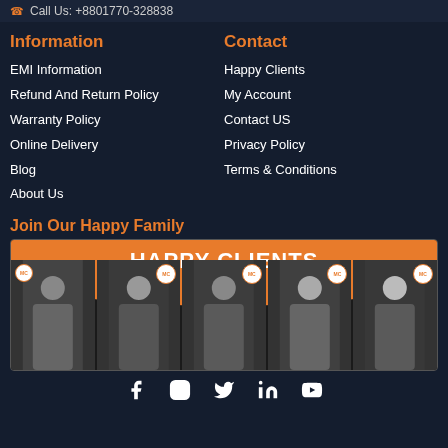Call Us: +8801770-328838
Information
EMI Information
Refund And Return Policy
Warranty Policy
Online Delivery
Blog
About Us
Contact
Happy Clients
My Account
Contact US
Privacy Policy
Terms & Conditions
Join Our Happy Family
[Figure (photo): Happy Clients banner with orange arc background showing 'HAPPY CLIENTS' text and a row of photos of people (customers) below]
Social media icons: Facebook, Instagram, Twitter, LinkedIn, YouTube